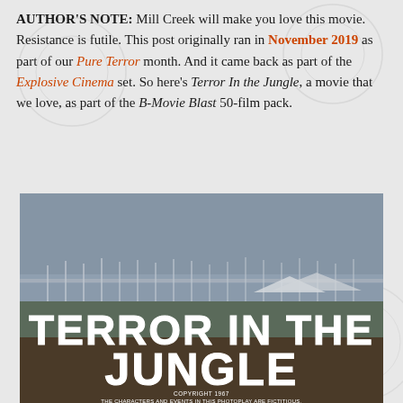AUTHOR'S NOTE: Mill Creek will make you love this movie. Resistance is futile. This post originally ran in November 2019 as part of our Pure Terror month. And it came back as part of the Explosive Cinema set. So here's Terror In the Jungle, a movie that we love, as part of the B-Movie Blast 50-film pack.
[Figure (photo): Movie title card from 'Terror in the Jungle' (1967) showing harbor/dock scene in the background with large white bold text reading 'TERROR IN THE JUNGLE' and copyright notice below reading 'COPYRIGHT 1967 / THE CHARACTERS AND EVENTS IN THIS PHOTOPLAY ARE FICTITIOUS. / ANY SIMILARITY TO PERSONS, LIVING OR DEAD, IS PURELY']